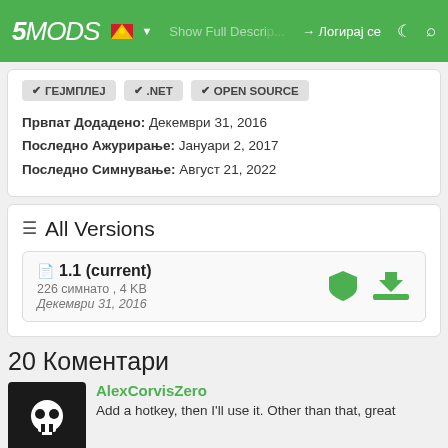5MODS | Show Full Description | Логирај се
ГЕЈМПЛЕЈ
.NET
OPEN SOURCE
Првпат Додадено: Декември 31, 2016
Последно Ажурирање: Јануари 2, 2017
Последно Симнување: Август 21, 2022
All Versions
1.1 (current)
226 симнато , 4 KB
Декември 31, 2016
20 Коментари
AlexCorvisZero
Add a hotkey, then I'll use it. Other than that, great